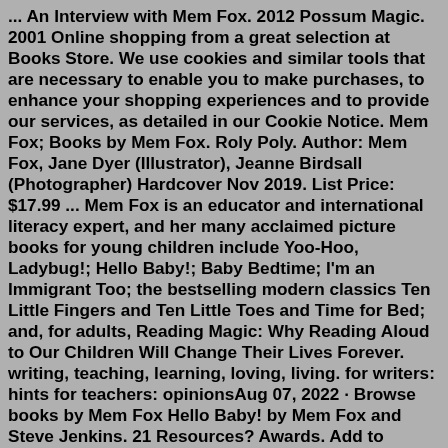... An Interview with Mem Fox. 2012 Possum Magic. 2001 Online shopping from a great selection at Books Store. We use cookies and similar tools that are necessary to enable you to make purchases, to enhance your shopping experiences and to provide our services, as detailed in our Cookie Notice. Mem Fox; Books by Mem Fox. Roly Poly. Author: Mem Fox, Jane Dyer (Illustrator), Jeanne Birdsall (Photographer) Hardcover Nov 2019. List Price: $17.99 ... Mem Fox is an educator and international literacy expert, and her many acclaimed picture books for young children include Yoo-Hoo, Ladybug!; Hello Baby!; Baby Bedtime; I'm an Immigrant Too; the bestselling modern classics Ten Little Fingers and Ten Little Toes and Time for Bed; and, for adults, Reading Magic: Why Reading Aloud to Our Children Will Change Their Lives Forever. writing, teaching, learning, loving, living. for writers: hints for teachers: opinionsAug 07, 2022 · Browse books by Mem Fox Hello Baby! by Mem Fox and Steve Jenkins. 21 Resources? Awards. Add to Reading List Share this